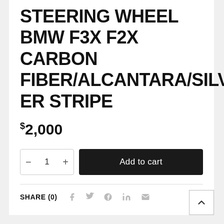STEERING WHEEL BMW F3X F2X CARBON FIBER/ALCANTARA/SILVER STRIPE
$2,000
− 1 + Add to cart
SHARE (0)